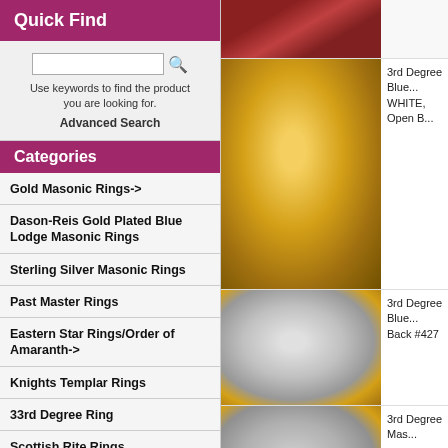Quick Find
Use keywords to find the product you are looking for.
Advanced Search
Categories
Gold Masonic Rings->
Dason-Reis Gold Plated Blue Lodge Masonic Rings
Sterling Silver Masonic Rings
Past Master Rings
Eastern Star Rings/Order of Amaranth->
Knights Templar Rings
33rd Degree Ring
Scottish Rite Rings
32nd Degree Scottish Rite Shrine
Wafferling-Berry Scottish Rite
[Figure (photo): Masonic ring with red stone, partial view at top]
[Figure (photo): 3rd Degree Blue Lodge gold masonic ring with square and compass, open back]
3rd Degree Blue... WHITE, Open B...
[Figure (photo): 3rd Degree Blue Lodge silver and gold masonic ring, Back #427]
3rd Degree Blue... Back #427
[Figure (photo): 3rd Degree Masonic ring silver and gold tone]
3rd Degree Mas...
[Figure (photo): 3rd Degree Blue Lodge ring, Back #429, partial view]
3rd Degree Blue... Back #429